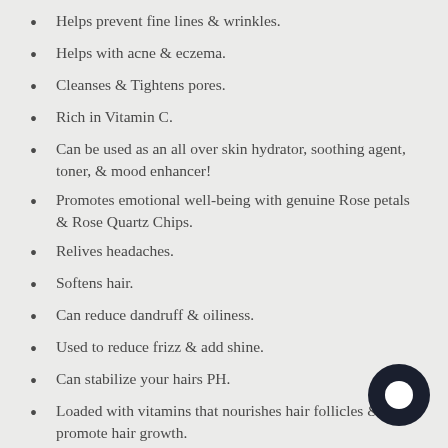Helps prevent fine lines & wrinkles.
Helps with acne & eczema.
Cleanses & Tightens pores.
Rich in Vitamin C.
Can be used as an all over skin hydrator, soothing agent, toner, & mood enhancer!
Promotes emotional well-being with genuine Rose petals & Rose Quartz Chips.
Relives headaches.
Softens hair.
Can reduce dandruff & oiliness.
Used to reduce frizz & add shine.
Can stabilize your hairs PH.
Loaded with vitamins that nourishes hair follicles & promote hair growth.
DID YOU KNOW?